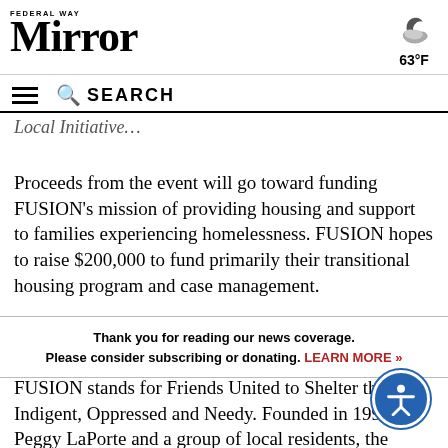Federal Way Mirror — 63°F
Proceeds from the event will go toward funding FUSION's mission of providing housing and support to families experiencing homelessness. FUSION hopes to raise $200,000 to fund primarily their transitional housing program and case management.
Thank you for reading our news coverage. Please consider subscribing or donating. LEARN MORE »
FUSION stands for Friends United to Shelter the Indigent, Oppressed and Needy. Founded in 1993 by Peggy LaPorte and a group of local residents, the nonprofit organization works to help families